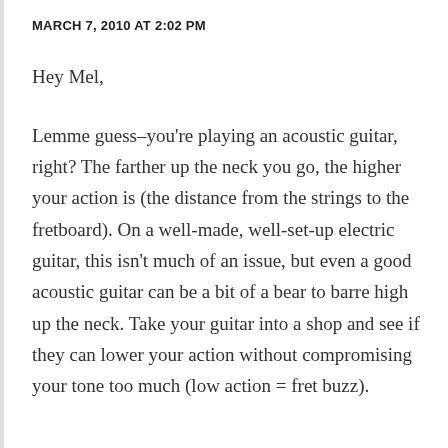MARCH 7, 2010 AT 2:02 PM
Hey Mel,
Lemme guess–you're playing an acoustic guitar, right? The farther up the neck you go, the higher your action is (the distance from the strings to the fretboard). On a well-made, well-set-up electric guitar, this isn't much of an issue, but even a good acoustic guitar can be a bit of a bear to barre high up the neck. Take your guitar into a shop and see if they can lower your action without compromising your tone too much (low action = fret buzz).